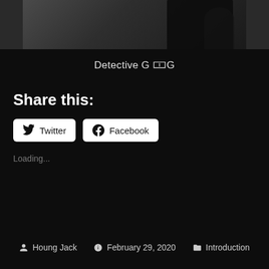[Figure (photo): Dark photograph showing a silhouetted figure against a dark background, cropped at top of page]
Detective G 🀱G
Share this:
Twitter  Facebook
Loading...
Houng Jack   February 29, 2020   Introduction